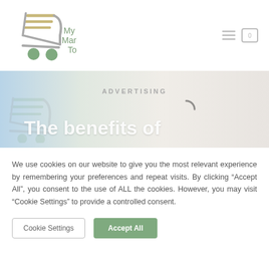[Figure (logo): My Marketplace Tools logo: shopping cart icon in olive/cream tones with green wheels, text 'My Marketplace Tools' in muted olive-green]
[Figure (photo): Hero banner with soft blue, beige and grey tones, faint shopping cart watermark, text 'ADVERTISING' in grey caps, bold white text 'The benefits of']
We use cookies on our website to give you the most relevant experience by remembering your preferences and repeat visits. By clicking “Accept All”, you consent to the use of ALL the cookies. However, you may visit “Cookie Settings” to provide a controlled consent.
Cookie Settings | Accept All